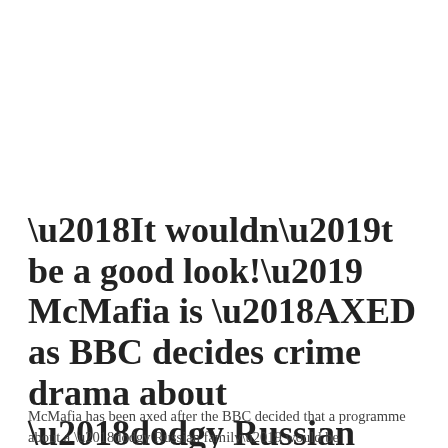‘It wouldn’t be a good look!’ McMafia is ‘AXED as BBC decides crime drama about ‘dodgy Russian family’ would be ‘awkward’ amid the Ukraine crisis’
McMafia has been axed after the BBC decided that a programme about a ‘dodgy Russian family’ would be ‘awkward’ amid the Ukraine crisis’